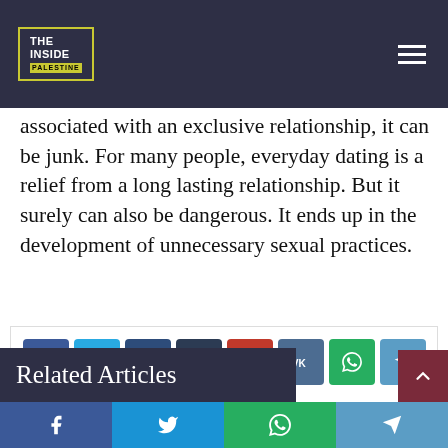THE INSIDE PALESTINE
associated with an exclusive relationship, it can be junk. For many people, everyday dating is a relief from a long lasting relationship. But it surely can also be dangerous. It ends up in the development of unnecessary sexual practices.
[Figure (infographic): Social media share buttons: Facebook, Twitter, LinkedIn, Tumblr, Pinterest, VK, WhatsApp, Telegram (top row); Email, Print (bottom row)]
Related Articles
Social share bottom bar: Facebook, Twitter, WhatsApp, Telegram